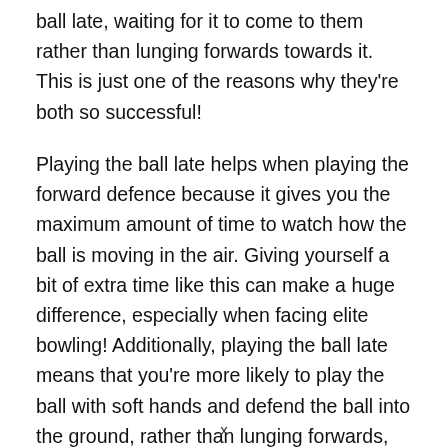ball late, waiting for it to come to them rather than lunging forwards towards it. This is just one of the reasons why they're both so successful!
Playing the ball late helps when playing the forward defence because it gives you the maximum amount of time to watch how the ball is moving in the air. Giving yourself a bit of extra time like this can make a huge difference, especially when facing elite bowling! Additionally, playing the ball late means that you're more likely to play the ball with soft hands and defend the ball into the ground, rather than lunging forwards, hitting the ball with hard hands and potentially offering a catch to a close fielder!
x